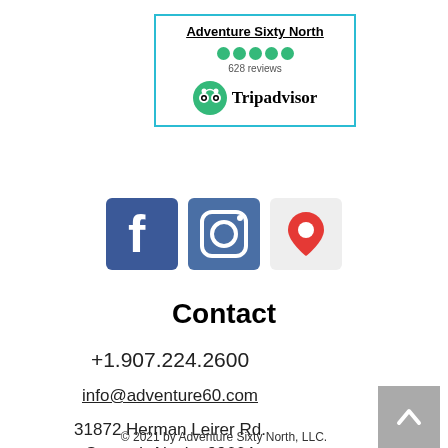[Figure (logo): Adventure Sixty North Tripadvisor widget with 5 green dots rating, 628 reviews, and Tripadvisor owl logo]
[Figure (infographic): Three social media icons: Facebook (blue f), Instagram (camera), Google Maps (red pin)]
Contact
+1.907.224.2600
info@adventure60.com
31872 Herman Leirer Rd. Seward, Alaska 99664
© 2021 by Adventure Sixty North, LLC.